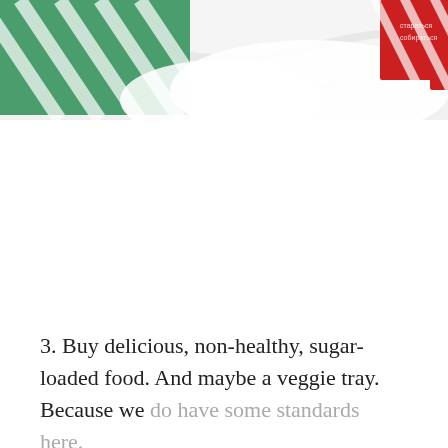[Figure (photo): Partial top view of holiday-themed items on a white surface: green and white striped wrapping paper, a red candy-striped gift box with white text, and a dark metallic pen or pencil, partially visible as the image is cropped at the bottom.]
3. Buy delicious, non-healthy, sugar-loaded food. And maybe a veggie tray. Because we do have some standards here.